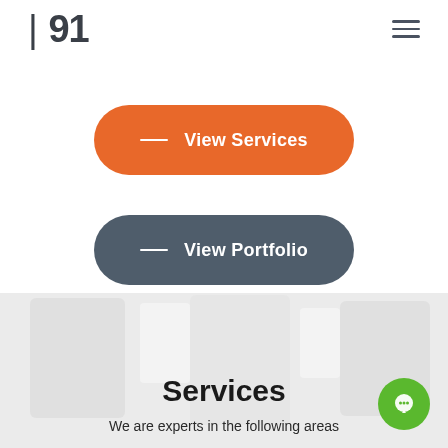| 91
[Figure (screenshot): Navigation hamburger menu icon (three horizontal lines)]
[Figure (screenshot): Orange rounded button with dash and text 'View Services']
[Figure (screenshot): Dark gray rounded button with dash and text 'View Portfolio']
Services
We are experts in the following areas
[Figure (illustration): Green circular chat button in bottom right corner]